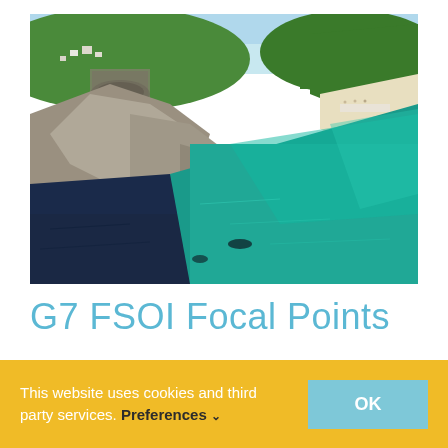[Figure (photo): Aerial photograph of coastal cliffs and turquoise sea, with a sandy beach visible on the right and green hilltop with buildings at the top left. Rocky cliff faces drop into dark navy water on the left and bright teal water on the right.]
G7 FSOI Focal Points
This website uses cookies and third party services. Preferences ∨